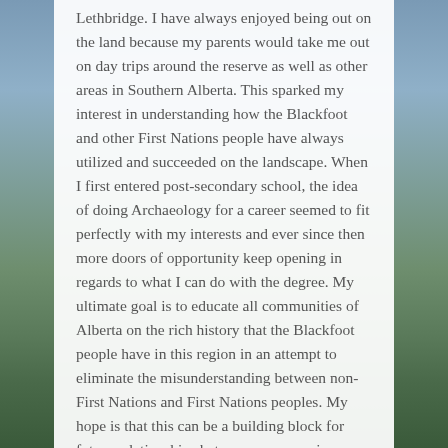Lethbridge. I have always enjoyed being out on the land because my parents would take me out on day trips around the reserve as well as other areas in Southern Alberta. This sparked my interest in understanding how the Blackfoot and other First Nations people have always utilized and succeeded on the landscape. When I first entered post-secondary school, the idea of doing Archaeology for a career seemed to fit perfectly with my interests and ever since then more doors of opportunity keep opening in regards to what I can do with the degree. My ultimate goal is to educate all communities of Alberta on the rich history that the Blackfoot people have in this region in an attempt to eliminate the misunderstanding between non-First Nations and First Nations peoples. My hope is that this can be a building block for future relationships between everyone in Canada